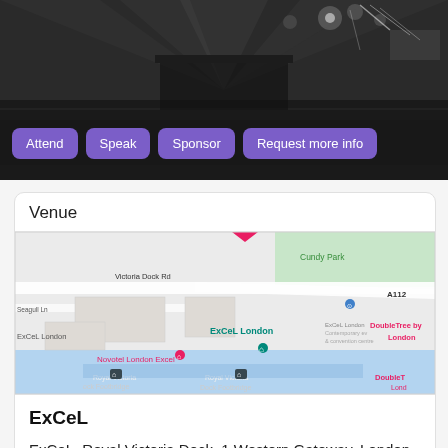[Figure (photo): Black and white aerial photo of a large concert/event venue with stage lighting and crowd, with four purple buttons overlaid: Attend, Speak, Sponsor, Request more info]
Venue
[Figure (map): Google Maps screenshot showing ExCeL London area with Victoria Dock Rd, Cundy Park, Seagull Ln, Novotel London Excel, DoubleTree by London, Royal Victoria Dock Footbridge labels]
ExCeL
ExCeL, Royal Victoria Dock, 1 Western Gateway, London E16 1XL, UK